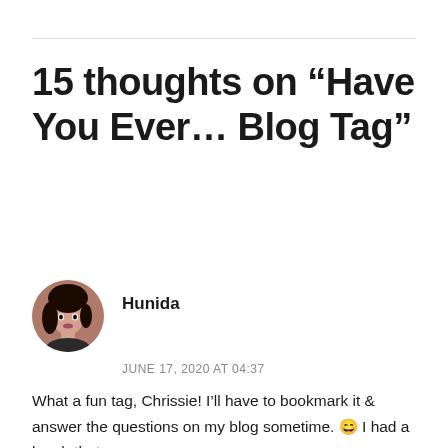15 thoughts on “Have You Ever… Blog Tag”
Hunida
JUNE 17, 2020 AT 04:37
What a fun tag, Chrissie! I’ll have to bookmark it & answer the questions on my blog sometime. 😄 I had a laugh that your